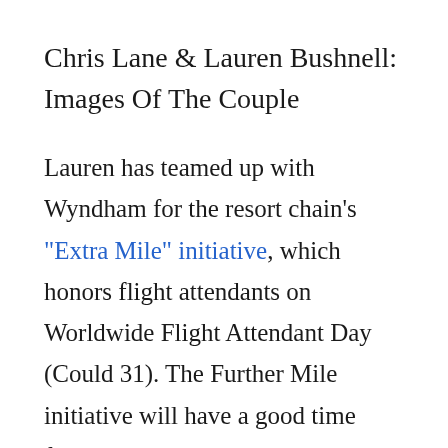Chris Lane & Lauren Bushnell: Images Of The Couple
Lauren has teamed up with Wyndham for the resort chain's “Extra Mile” initiative, which honors flight attendants on Worldwide Flight Attendant Day (Could 31). The Further Mile initiative will have a good time flight attendants as they examine in at collaborating Wyndham places across the U.S., providing them $10 reward playing cards to pick out